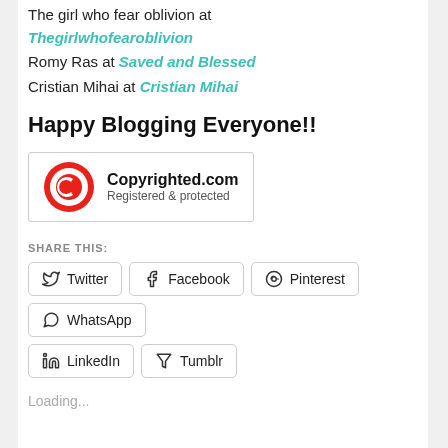The girl who fear oblivion at Thegirlwhofearoblivion
Romy Ras at Saved and Blessed
Cristian Mihai at Cristian Mihai
Happy Blogging Everyone!!
[Figure (logo): Copyrighted.com Registered & protected badge with red circle-C logo]
SHARE THIS:
Twitter
Facebook
Pinterest
WhatsApp
LinkedIn
Tumblr
Loading...